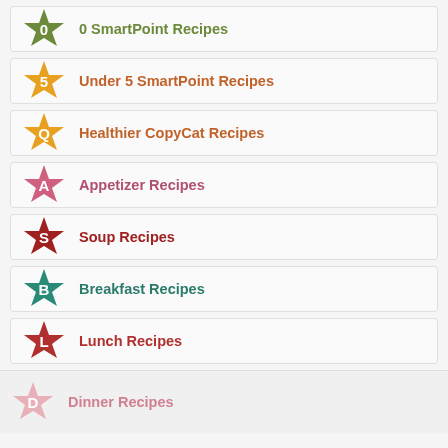0 SmartPoint Recipes
Under 5 SmartPoint Recipes
Healthier CopyCat Recipes
Appetizer Recipes
Soup Recipes
Breakfast Recipes
Lunch Recipes
Dinner Recipes